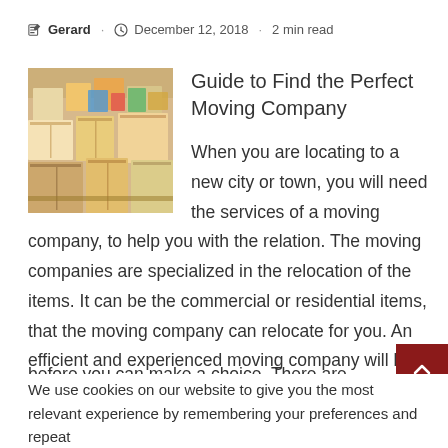Gerard · December 12, 2018 · 2 min read
Guide to Find the Perfect Moving Company
[Figure (photo): Photo of moving boxes and packed items stacked together]
When you are locating to a new city or town, you will need the services of a moving company, to help you with the relation. The moving companies are specialized in the relocation of the items. It can be the commercial or residential items, that the moving company can relocate for you. An efficient and experienced moving company will be a good choice to go for. Also, you will make sure that you can afford the services of a moving company before you can make a choice. There are many movi
We use cookies on our website to give you the most relevant experience by remembering your preferences and repeat